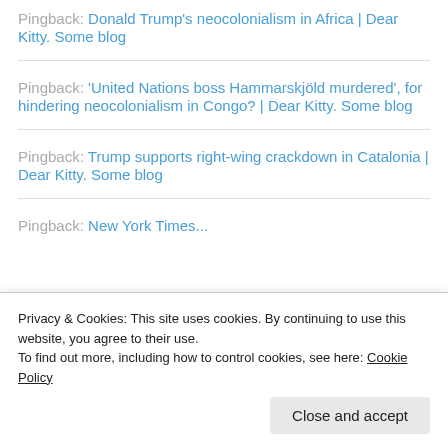Pingback: Donald Trump's neocolonialism in Africa | Dear Kitty. Some blog
Pingback: 'United Nations boss Hammarskjöld murdered', for hindering neocolonialism in Congo? | Dear Kitty. Some blog
Pingback: Trump supports right-wing crackdown in Catalonia | Dear Kitty. Some blog
Pingback: New York Times...
Privacy & Cookies: This site uses cookies. By continuing to use this website, you agree to their use. To find out more, including how to control cookies, see here: Cookie Policy
Close and accept